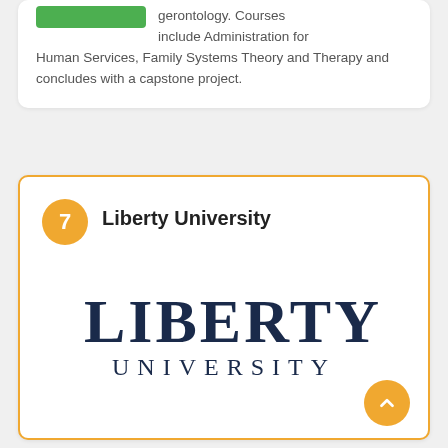gerontology. Courses include Administration for Human Services, Family Systems Theory and Therapy and concludes with a capstone project.
7  Liberty University
[Figure (logo): Liberty University logo with LIBERTY in large serif font and UNIVERSITY in smaller spaced letters below, dark navy color]